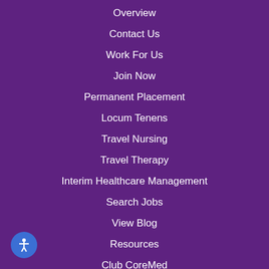Overview
Contact Us
Work For Us
Join Now
Permanent Placement
Locum Tenens
Travel Nursing
Travel Therapy
Interim Healthcare Management
Search Jobs
View Blog
Resources
Club CoreMed
Privacy Statement
CCPA Policy